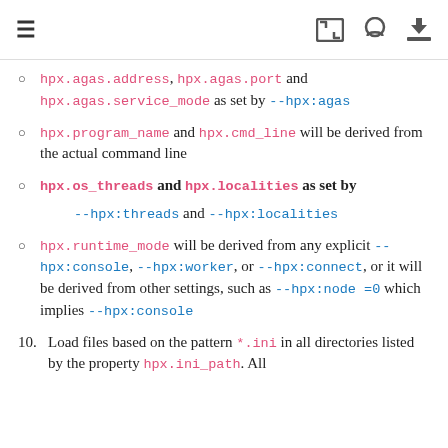≡ [icon] [github] [download]
hpx.agas.address, hpx.agas.port and hpx.agas.service_mode as set by --hpx:agas
hpx.program_name and hpx.cmd_line will be derived from the actual command line
hpx.os_threads and hpx.localities as set by
    --hpx:threads and --hpx:localities
hpx.runtime_mode will be derived from any explicit --hpx:console, --hpx:worker, or --hpx:connect, or it will be derived from other settings, such as --hpx:node =0 which implies --hpx:console
10. Load files based on the pattern *.ini in all directories listed by the property hpx.ini_path. All